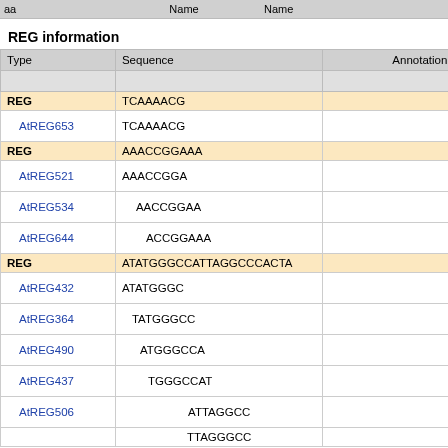| Type | Sequence | Annotation | Ge... Str... |
| --- | --- | --- | --- |
| REG | TCAAAACG |  | - |
| AtREG653 | TCAAAACG |  | PP Mo |
| REG | AAACCGGAAA |  | - |
| AtREG521 | AAACCGGA |  | PP Mo |
| AtREG534 | AACCGGAA |  | PP Mo |
| AtREG644 | ACCGGAAA |  | PP Mo |
| REG | ATATGGGCCATTAGGCCCACTA |  | - |
| AtREG432 | ATATGGGC |  | PP Mo |
| AtREG364 | TATGGGCC |  | PP Mo |
| AtREG490 | ATGGGCCA |  | PP Mo |
| AtREG437 | TGGGCCAT |  | PP Mo |
| AtREG506 | ATTAGGCC |  | PP Mo |
|  | TTAGGGCC |  | PP |